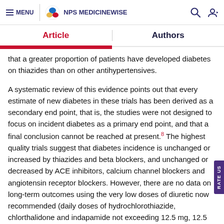MENU | NPS MEDICINEWISE
Article | Authors
that a greater proportion of patients have developed diabetes on thiazides than on other antihypertensives.
A systematic review of this evidence points out that every estimate of new diabetes in these trials has been derived as a secondary end point, that is, the studies were not designed to focus on incident diabetes as a primary end point, and that a final conclusion cannot be reached at present.²8 The highest quality trials suggest that diabetes incidence is unchanged or increased by thiazides and beta blockers, and unchanged or decreased by ACE inhibitors, calcium channel blockers and angiotensin receptor blockers. However, there are no data on long-term outcomes using the very low doses of diuretic now recommended (daily doses of hydrochlorothiazide, chlorthalidone and indapamide not exceeding 12.5 mg, 12.5 mg and 1.5 mg respectively) although it would be expected